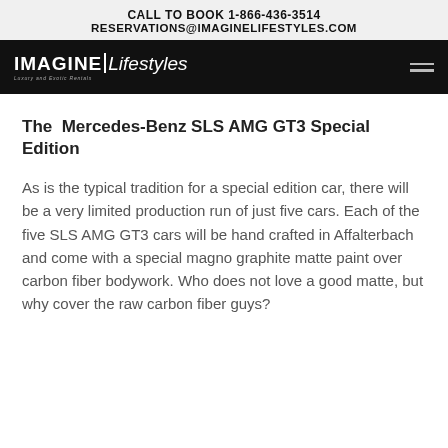CALL TO BOOK 1-866-436-3514
RESERVATIONS@IMAGINELIFESTYLES.COM
[Figure (logo): Imagine Lifestyles logo on black navigation bar with hamburger menu icon]
The  Mercedes-Benz SLS AMG GT3 Special Edition
As is the typical tradition for a special edition car, there will be a very limited production run of just five cars. Each of the five SLS AMG GT3 cars will be hand crafted in Affalterbach and come with a special magno graphite matte paint over carbon fiber bodywork. Who does not love a good matte, but why cover the raw carbon fiber guys?